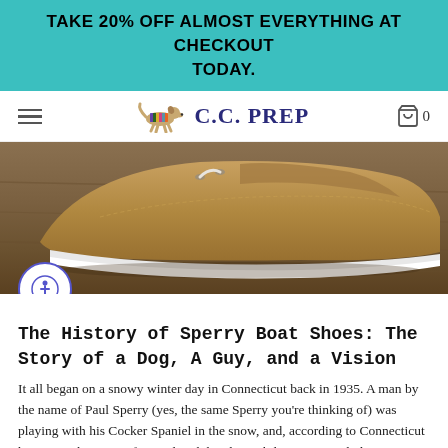TAKE 20% OFF ALMOST EVERYTHING AT CHECKOUT TODAY.
[Figure (logo): C.C. PREP brand navigation bar with hamburger menu, dog logo, brand name, and cart icon]
[Figure (photo): Close-up photo of a tan/brown suede Sperry boat shoe resting on a wooden surface, showing white rubber sole and rawhide lace detail]
The History of Sperry Boat Shoes: The Story of a Dog, A Guy, and a Vision
It all began on a snowy winter day in Connecticut back in 1935. A man by the name of Paul Sperry (yes, the same Sperry you're thinking of) was playing with his Cocker Spaniel in the snow, and, according to Connecticut historians, became infatuated with his dog's ability to run and play on ice without slipping.